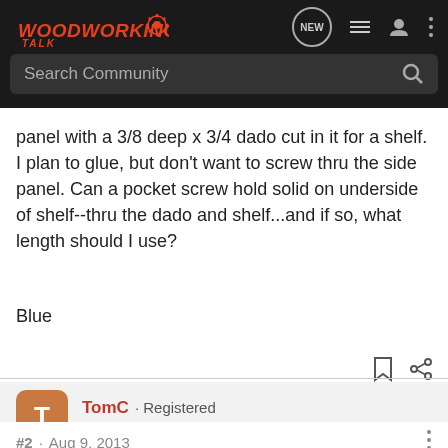[Figure (screenshot): WoodworkingTalk forum navigation bar with logo, search bar, and icons]
panel with a 3/8 deep x 3/4 dado cut in it for a shelf. I plan to glue, but don't want to screw thru the side panel. Can a pocket screw hold solid on underside of shelf--thru the dado and shelf...and if so, what length should I use?
Blue
TomC · Registered
Joined Oct 27, 2008 · 2,304 Posts
#2 · Aug 9, 2013
I'm not sure what you are asking. If you have dado and glue it